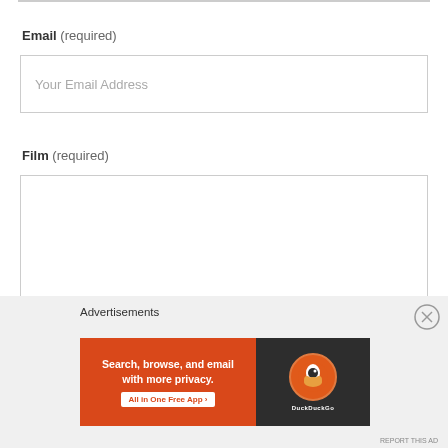Email (required)
[Figure (screenshot): Email input field with placeholder text 'Your Email Address']
Film (required)
[Figure (screenshot): Film text area input field (empty)]
Advertisements
[Figure (screenshot): DuckDuckGo advertisement banner: 'Search, browse, and email with more privacy. All in One Free App' with DuckDuckGo logo on dark background]
REPORT THIS AD